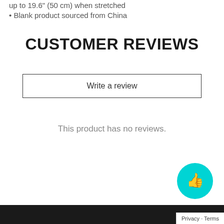up to 19.6" (50 cm) when stretched
Blank product sourced from China
CUSTOMER REVIEWS
Write a review
This product has no reviews.
[Figure (other): Cyan circular chat/feedback button with a thumbs up icon, partially visible in bottom right corner]
Privacy · Terms